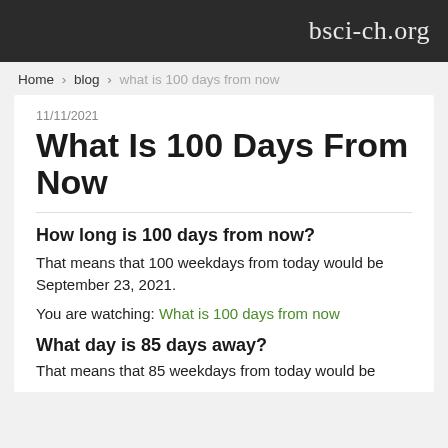bsci-ch.org
Home › blog › what is 100 days from now
11/11/2021
What Is 100 Days From Now
How long is 100 days from now?
That means that 100 weekdays from today would be September 23, 2021.
You are watching: What is 100 days from now
What day is 85 days away?
That means that 85 weekdays from today would be